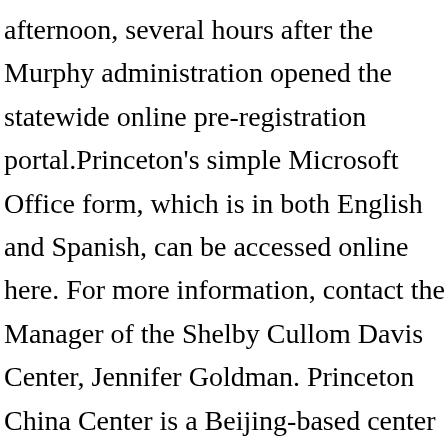afternoon, several hours after the Murphy administration opened the statewide online pre-registration portal.Princeton's simple Microsoft Office form, which is in both English and Spanish, can be accessed online here. For more information, contact the Manager of the Shelby Cullom Davis Center, Jennifer Goldman. Princeton China Center is a Beijing-based center with administrative functions. With more than 200 performances every year in theatre, music, dance, and all kinds of special event, McCarter Theatre Center for the Performing Arts is one of the most active...